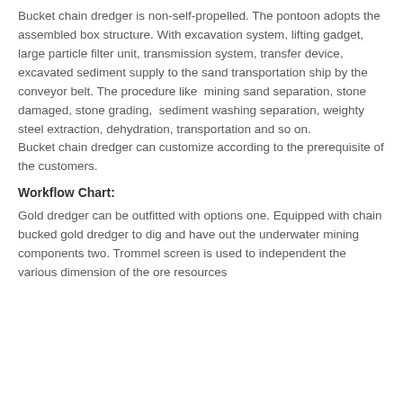Bucket chain dredger is non-self-propelled. The pontoon adopts the assembled box structure. With excavation system, lifting gadget, large particle filter unit, transmission system, transfer device, excavated sediment supply to the sand transportation ship by the conveyor belt. The procedure like  mining sand separation, stone damaged, stone grading,  sediment washing separation, weighty steel extraction, dehydration, transportation and so on.
Bucket chain dredger can customize according to the prerequisite of the customers.
Workflow Chart:
Gold dredger can be outfitted with options one. Equipped with chain bucked gold dredger to dig and have out the underwater mining components two. Trommel screen is used to independent the various dimension of the ore resources three. Mercury mixing is for separating the...